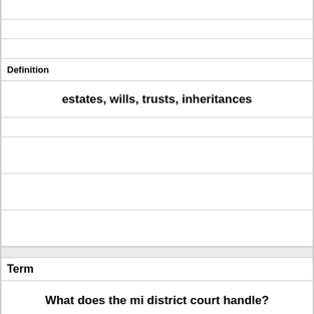|  |
|  |
| Definition |  |
|  | estates, wills, trusts, inheritances |
|  |
|  |
|  |
|  |
| Term |  |
|  | What does the mi district court handle? |
|  |
|  |